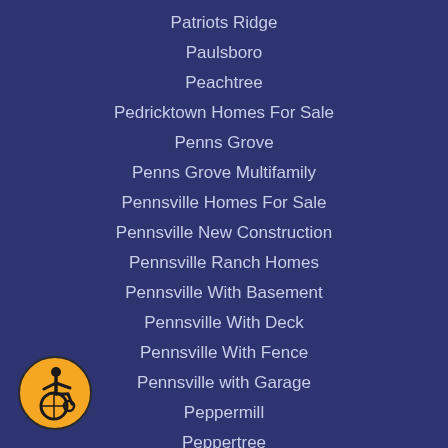Patriots Ridge
Paulsboro
Peachtree
Pedricktown Homes For Sale
Penns Grove
Penns Grove Multifamily
Pennsville Homes For Sale
Pennsville New Construction
Pennsville Ranch Homes
Pennsville With Basement
Pennsville With Deck
Pennsville With Fence
Pennsville with Garage
Peppermill
Peppertree
Pheasant Run
Pilesgrove Homes For Sale
[Figure (illustration): Wheelchair accessibility icon — yellow circle with black border containing a wheelchair user symbol in black]